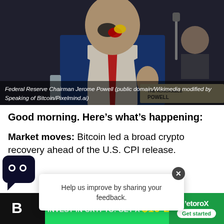[Figure (photo): Photo of Federal Reserve Chairman Jerome Powell at a hearing, with his face digitally altered with paint marks. A nameplate reading 'THE HONORABLE POWELL' is visible in the foreground.]
Federal Reserve Chairman Jerome Powell (public domain/Wikimedia modified by Speaking of Bitcoin/Pixelmind.ai)
Good morning. Here's what's happening:
Market moves: Bitcoin led a broad crypto recovery ahead of the U.S. CPI release.
Help us improve by sharing your feedback.